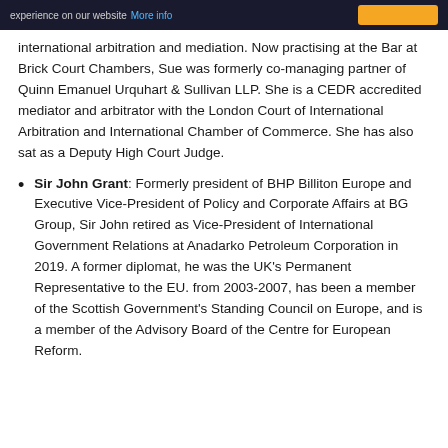experience on our website More info
international arbitration and mediation. Now practising at the Bar at Brick Court Chambers, Sue was formerly co-managing partner of Quinn Emanuel Urquhart & Sullivan LLP. She is a CEDR accredited mediator and arbitrator with the London Court of International Arbitration and International Chamber of Commerce. She has also sat as a Deputy High Court Judge.
Sir John Grant: Formerly president of BHP Billiton Europe and Executive Vice-President of Policy and Corporate Affairs at BG Group, Sir John retired as Vice-President of International Government Relations at Anadarko Petroleum Corporation in 2019. A former diplomat, he was the UK's Permanent Representative to the EU. from 2003-2007, has been a member of the Scottish Government's Standing Council on Europe, and is a member of the Advisory Board of the Centre for European Reform.